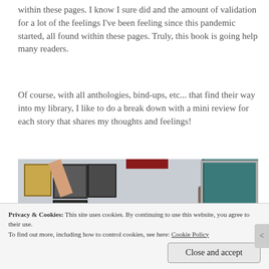within these pages. I know I sure did and the amount of validation for a lot of the feelings I've been feeling since this pandemic started, all found within these pages. Truly, this book is going help many readers.
Of course, with all anthologies, bind-ups, etc... that find their way into my library, I like to do a break down with a mini review for each story that shares my thoughts and feelings!
[Figure (photo): A scene with framed certificates/photos on a wall on the left side, a person with arm raised on the left, another person visible on the right side with arm raised, and a teal/green board on the far right.]
Privacy & Cookies: This site uses cookies. By continuing to use this website, you agree to their use.
To find out more, including how to control cookies, see here: Cookie Policy
Close and accept